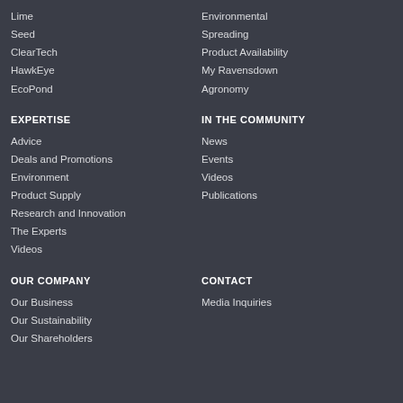Lime
Seed
ClearTech
HawkEye
EcoPond
Environmental
Spreading
Product Availability
My Ravensdown
Agronomy
EXPERTISE
IN THE COMMUNITY
Advice
Deals and Promotions
Environment
Product Supply
Research and Innovation
The Experts
Videos
News
Events
Videos
Publications
OUR COMPANY
CONTACT
Our Business
Our Sustainability
Our Shareholders
Media Inquiries